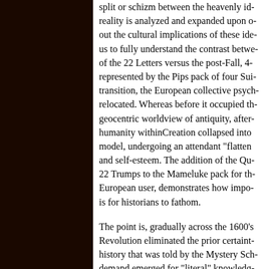split or schizm between the heavenly id- reality is analyzed and expanded upon o- out the cultural implications of these ide- us to fully understand the contrast betw- of the 22 Letters versus the post-Fall, 4- represented by the Pips pack of four Sui- transition, the European collective psych- relocated. Whereas before it occupied th- geocentric worldview of antiquity, after- humanity withinCreation collapsed into model, undergoing an attendant "flatten and self-esteem. The addition of the Qu- 22 Trumps to the Mameluke pack for th- European user, demonstrates how impo- is for historians to fathom.

The point is, gradually across the 1600's Revolution eliminated the prior certaint- history that was told by the Mystery Sch- demand emerged for "literal" knowledg- rather than metaphorical revelation of a- Principals. Despite that shift, within a c- wave of committed esotericists who we- claims of empirical science, who instea-